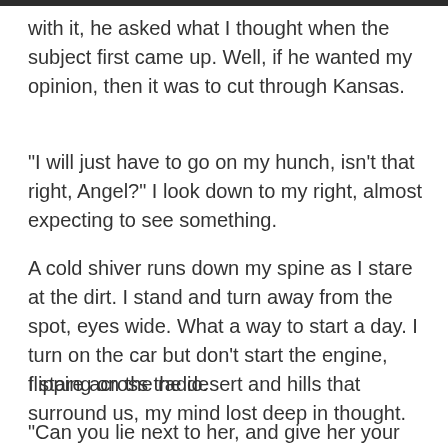with it, he asked what I thought when the subject first came up. Well, if he wanted my opinion, then it was to cut through Kansas.
“I will just have to go on my hunch, isn't that right, Angel?” I look down to my right, almost expecting to see something.
A cold shiver runs down my spine as I stare at the dirt. I stand and turn away from the spot, eyes wide. What a way to start a day. I turn on the car but don’t start the engine, flipping on the radio.
I stare across the desert and hills that surround us, my mind lost deep in thought.
“Can you lie next to her, and give her your heart, your